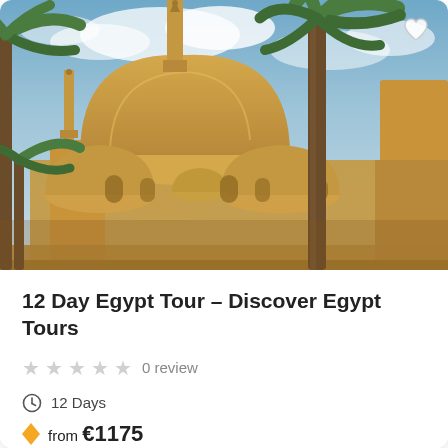[Figure (photo): Photograph of a large mosque with golden domes and tall minarets, framed by tall palm trees against a blue sky with clouds. Warm golden sunlight illuminates the ornate stone architecture. A small heart/favorite icon is visible in the top-right corner of the image.]
12 Day Egypt Tour – Discover Egypt Tours
★★★★★ 0 review
⏱ 12 Days
⚡ from €1175